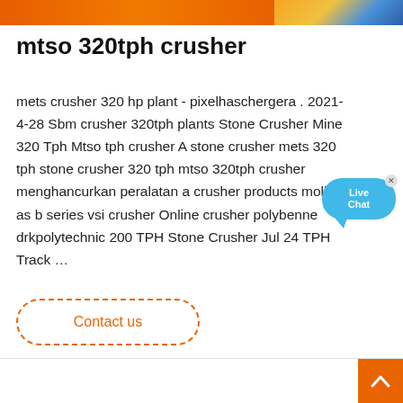[Figure (photo): Top portion of an orange crusher machine against a light background]
mtso 320tph crusher
mets crusher 320 hp plant - pixelhaschergera . 2021-4-28 Sbm crusher 320tph plants Stone Crusher Mine 320 Tph Mtso tph crusher A stone crusher mets 320 tph stone crusher 320 tph mtso 320tph crusher menghancurkan peralatan a crusher products molino as b series vsi crusher Online crusher polybenne drkpolytechnic 200 TPH Stone Crusher Jul 24 TPH Track …
[Figure (other): Live Chat bubble widget — blue rounded speech bubble with 'Live Chat' text and a close X button]
Contact us
[Figure (photo): Bottom section showing partial images of crusher equipment]